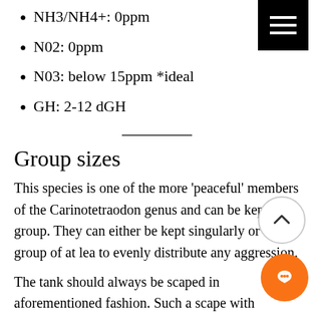NH3/NH4+: 0ppm
N02: 0ppm
N03: below 15ppm *ideal
GH: 2-12 dGH
Group sizes
This species is one of the more 'peaceful' members of the Carinotetraodon genus and can be kept in a group. They can either be kept singularly or in a group of at least to evenly distribute any aggression.
The tank should always be scaped in the aforementioned fashion. Such a scape with